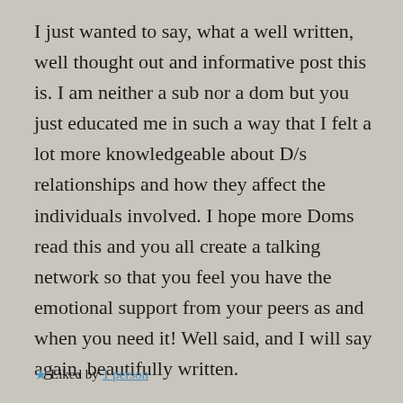I just wanted to say, what a well written, well thought out and informative post this is. I am neither a sub nor a dom but you just educated me in such a way that I felt a lot more knowledgeable about D/s relationships and how they affect the individuals involved. I hope more Doms read this and you all create a talking network so that you feel you have the emotional support from your peers as and when you need it! Well said, and I will say again, beautifully written.
★ Liked by 1 person